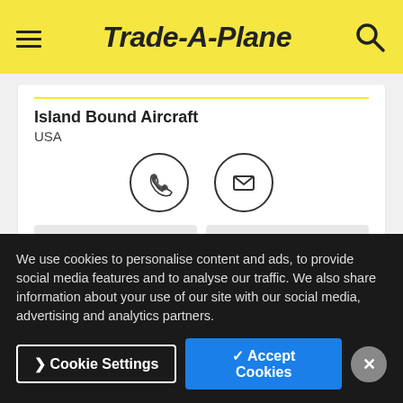Trade-A-Plane
Island Bound Aircraft
USA
COMPARE   SAVE
Last Update: 01/12/2021
We use cookies to personalise content and ads, to provide social media features and to analyse our traffic. We also share information about your use of our site with our social media, advertising and analytics partners.
Cookie Settings   ✓ Accept Cookies